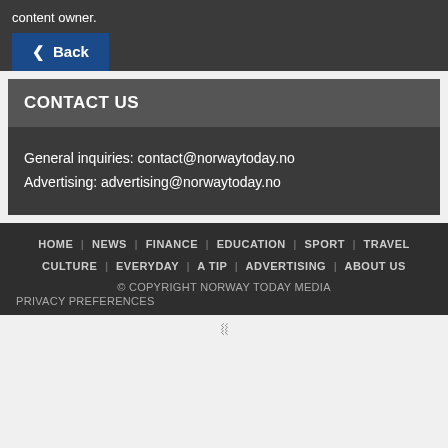content owner.
◀ Back
CONTACT US
General inquiries: contact@norwaytoday.no
Advertising: advertising@norwaytoday.no
HOME | NEWS | FINANCE | EDUCATION | SPORT | TRAVEL | CULTURE | EVERYDAY | A TIP | ADVERTISING | ABOUT US
© COPYRIGHT NORWAY TODAY MEDIA
PRIVACY PREFERENCES